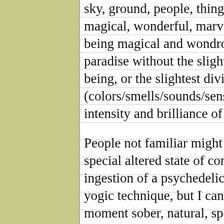sky, ground, people, things and events, are reve magical, wonderful, marvelous, alive and vivid being magical and wondrous like actually living paradise without the slightest trace of a self/Sel being, or the slightest division of a subject and (colors/smells/sounds/sensations/touch/thought intensity and brilliance of aliveness that simply
People not familiar might on first glance think b special altered state of consciousness unnatural ingestion of a psychedelic drug or through some yogic technique, but I can assure you this is now moment sober, natural, spontaneous and effortle
This aspect of a PCE or an Actual Freedom is qu Actual Freedom teachings (which I have been r helping to write the Awakening to Reality guide make ontological statements about the physical notions of inherent existence with regards to a p there. The infinitude (boundlessness) of the uni very spontaneous breathing and activity is expe state of total exertion, with no sense of solidit